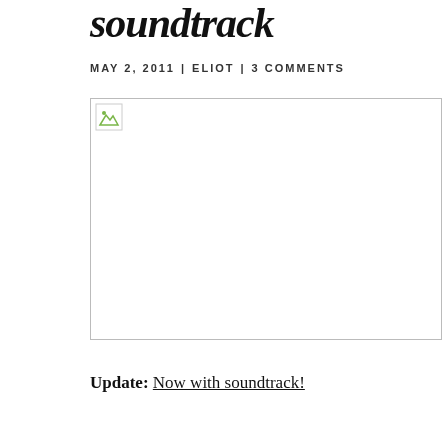soundtrack
MAY 2, 2011 | ELIOT | 3 COMMENTS
[Figure (photo): Broken/missing image placeholder with small icon in top-left corner]
Update: Now with soundtrack!